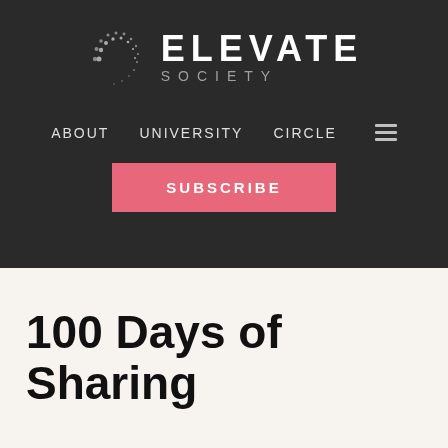[Figure (logo): Elevate Society logo with dotted circle icon on the left and 'ELEVATE SOCIETY' text on the right, on dark background]
ABOUT   UNIVERSITY   CIRCLE   ≡
SUBSCRIBE
100 Days of Sharing